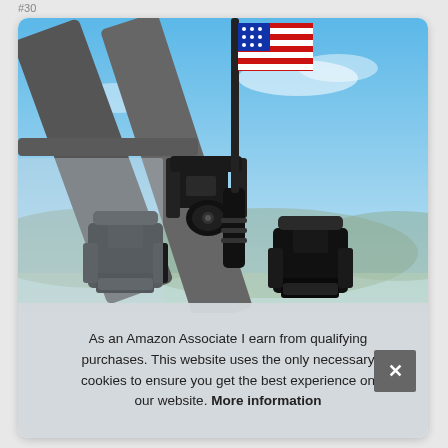#30
[Figure (photo): Close-up product photo of a black metal flag mount/bracket assembly attached to a roll cage or tube frame. The mount includes clamp hardware with a flagpole base and a small American flag visible in the upper right corner. Blue sky with distant hills in background. Two black clamp brackets shown in the foreground.]
As an Amazon Associate I earn from qualifying purchases. This website uses the only necessary cookies to ensure you get the best experience on our website. More information